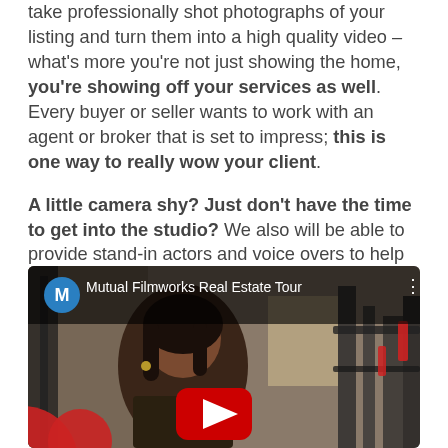take professionally shot photographs of your listing and turn them into a high quality video – what's more you're not just showing the home, you're showing off your services as well. Every buyer or seller wants to work with an agent or broker that is set to impress; this is one way to really wow your client.
A little camera shy? Just don't have the time to get into the studio? We also will be able to provide stand-in actors and voice overs to help save you time or for your use in case you get lock-jaw when talking to a massive global video audience.
[Figure (screenshot): YouTube video thumbnail showing 'Mutual Filmworks Real Estate Tour' with a woman in a gym/fitness room setting, with YouTube play button, channel icon with letter M, and decorative red circles.]